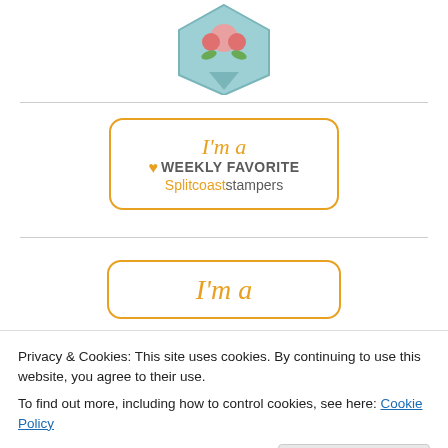[Figure (logo): Partial badge/logo at top of page with teal and floral design]
[Figure (logo): I'm a Weekly Favorite Splitcoaststampers badge with orange border, heart icon, and stylized text]
[Figure (logo): Partial I'm a badge visible at bottom, partially obscured by cookie banner]
Privacy & Cookies: This site uses cookies. By continuing to use this website, you agree to their use.
To find out more, including how to control cookies, see here: Cookie Policy
Close and accept